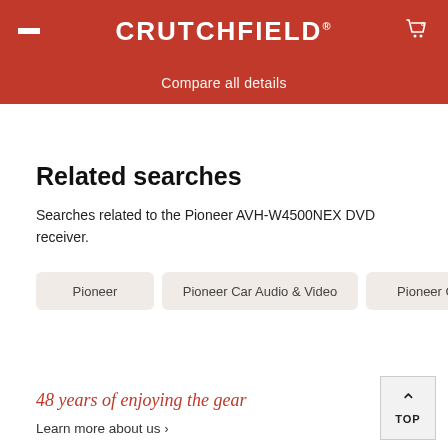CRUTCHFIELD
Compare all details
Related searches
Searches related to the Pioneer AVH-W4500NEX DVD receiver.
Pioneer
Pioneer Car Audio & Video
Pioneer Car Stereos
48 years of enjoying the gear
Learn more about us >